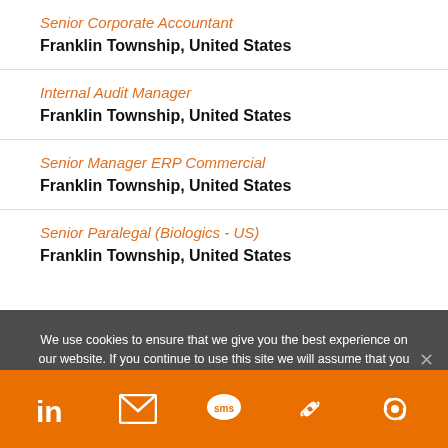Senior Corporate Accountant
Franklin Township, United States
Internal Audit Manager
Franklin Township, United States
Senior Manager ERP Commercial
Franklin Township, United States
Senior Paralegal (Biologics - US)
Franklin Township, United States
We use cookies to ensure that we give you the best experience on our website. If you continue to use this site we will assume that you are happy with it.
LinkedIn | Email | SMS | Link | Settings icons